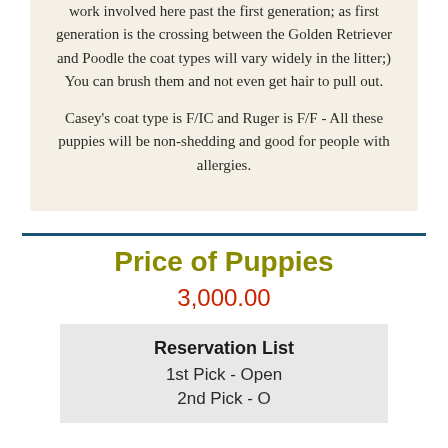work involved here past the first generation; as first generation is the crossing between the Golden Retriever and Poodle the coat types will vary widely in the litter;)  You can brush them and not even get hair to pull out.
Casey's coat type is F/IC and Ruger is F/F - All these puppies will be non-shedding and good for people with allergies.
Price of Puppies
3,000.00
Reservation List
1st Pick - Open